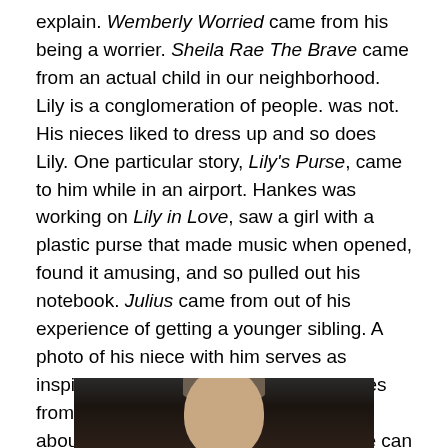explain. Wemberly Worried came from his being a worrier. Sheila Rae The Brave came from an actual child in our neighborhood. Lily is a conglomeration of people. was not. His nieces liked to dress up and so does Lily. One particular story, Lily's Purse, came to him while in an airport. Hankes was working on Lily in Love, saw a girl with a plastic purse that made music when opened, found it amusing, and so pulled out his notebook. Julius came from out of his experience of getting a younger sibling. A photo of his niece with him serves as inspiration. As for Crystantheum, it comes from his love of writing about school and about teachers. With an idea in mind, he can work.
[Figure (photo): A photograph of a man (likely Kevin Henkes) from the shoulders up, with short grey/brown hair, against a dark background.]